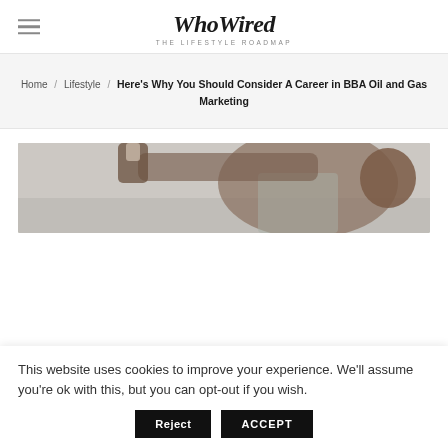WhoWired — The Lifestyle Roadmap
Home / Lifestyle / Here's Why You Should Consider A Career in BBA Oil and Gas Marketing
[Figure (photo): A person wearing an apron leaning close to inspect something, professional kitchen or workshop setting]
This website uses cookies to improve your experience. We'll assume you're ok with this, but you can opt-out if you wish.
Reject | ACCEPT